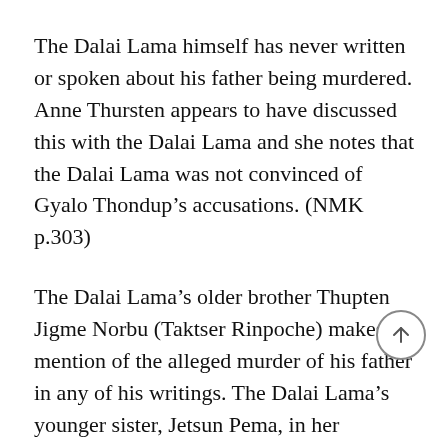The Dalai Lama himself has never written or spoken about his father being murdered. Anne Thursten appears to have discussed this with the Dalai Lama and she notes that the Dalai Lama was not convinced of Gyalo Thondup’s accusations. (NMK p.303)
The Dalai Lama’s older brother Thupten Jigme Norbu (Taktser Rinpoche) makes no mention of the alleged murder of his father in any of his writings. The Dalai Lama’s younger sister, Jetsun Pema, in her autobiography[18] gives a detailed account of the illness and passing away of her father, but makes no mention of poison or murder. She was actually by her father’s bedside when he died. The Dalai Lama’s mother expressed her doubts about her husband’s manner of